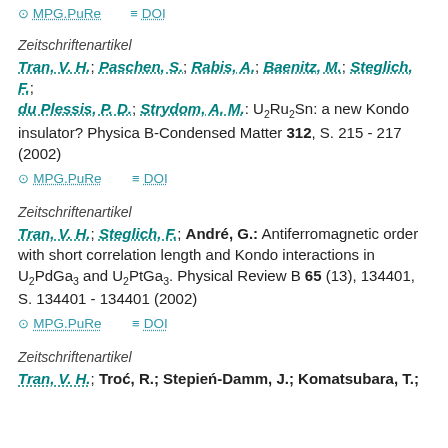MPG.PuRe  DOI
Zeitschriftenartikel
Tran, V. H.; Paschen, S.; Rabis, A.; Baenitz, M.; Steglich, F.; du Plessis, P. D.; Strydom, A. M.: U2Ru2Sn: a new Kondo insulator? Physica B-Condensed Matter 312, S. 215 - 217 (2002)
MPG.PuRe  DOI
Zeitschriftenartikel
Tran, V. H.; Steglich, F.; André, G.: Antiferromagnetic order with short correlation length and Kondo interactions in U2PdGa3 and U2PtGa3. Physical Review B 65 (13), 134401, S. 134401 - 134401 (2002)
MPG.PuRe  DOI
Zeitschriftenartikel
Tran, V. H.; Troć, R.; Stepień-Damm, J.; Komatsubara, T.;